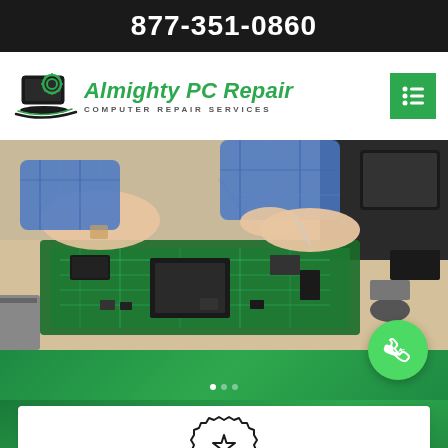877-351-0860
[Figure (logo): Almighty PC Repair logo with laptop and gear icon, green text reading Almighty PC Repair with subtitle COMPUTER REPAIR SERVICES]
[Figure (photo): Technician hands working on open laptop motherboard with computer parts spread on table]
[Figure (illustration): Green circular phone/call button floating over green section]
[Figure (illustration): White card with badge/star quality icon at bottom of page, partially visible]